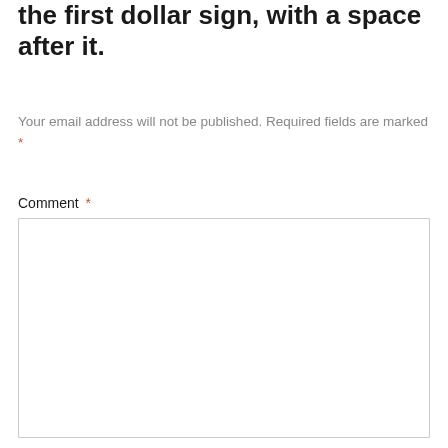the first dollar sign, with a space after it.
Your email address will not be published. Required fields are marked *
Comment *